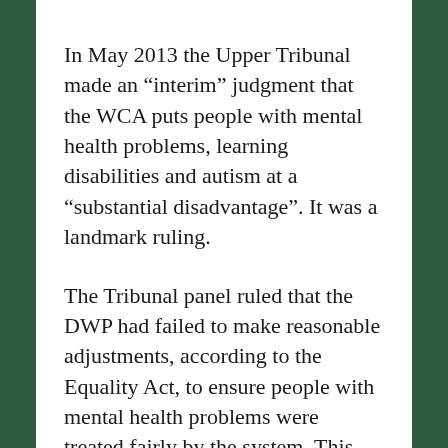In May 2013 the Upper Tribunal made an “interim” judgment that the WCA puts people with mental health problems, learning disabilities and autism at a “substantial disadvantage”. It was a landmark ruling.
The Tribunal panel ruled that the DWP had failed to make reasonable adjustments, according to the Equality Act, to ensure people with mental health problems were treated fairly by the system. This failure meant such claimants were placed at a substantial disadvantage.